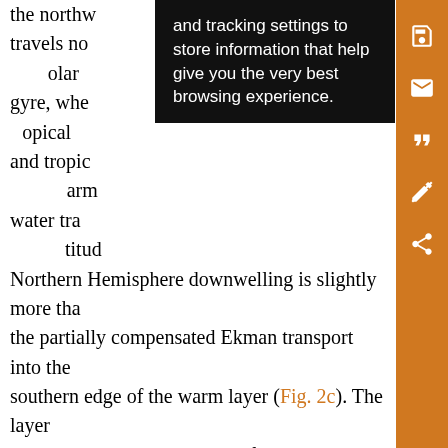the northw ... and tracking settings to store information that help give you the very best browsing experience. ... ow travels no ... olar gyre, whe ... opical and tropic ... warm water transport increases northward and the high latitud Northern Hemisphere downwelling is slightly more tha the partially compensated Ekman transport into the southern edge of the warm layer (Fig. 2c). The layer thickness increases westward from the eastern boundary in the interior of the subtropical gyres, resulting in slightly decreased diabatic upwelling toward the west, and decreases westward in the subpolar gyre. Because of the larger friction, the midlatitude thickness h is slightly smaller and the weak midlatitude upwelling is consequently slightly stronger than in the Samelson (2009) r =0.2 solution (Fig. 2b). Similarly, the large value of ...